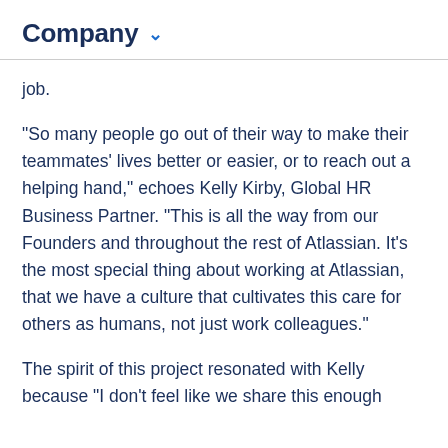Company
job.
"So many people go out of their way to make their teammates' lives better or easier, or to reach out a helping hand," echoes Kelly Kirby, Global HR Business Partner. "This is all the way from our Founders and throughout the rest of Atlassian. It's the most special thing about working at Atlassian, that we have a culture that cultivates this care for others as humans, not just work colleagues."
The spirit of this project resonated with Kelly because "I don't feel like we share this enough